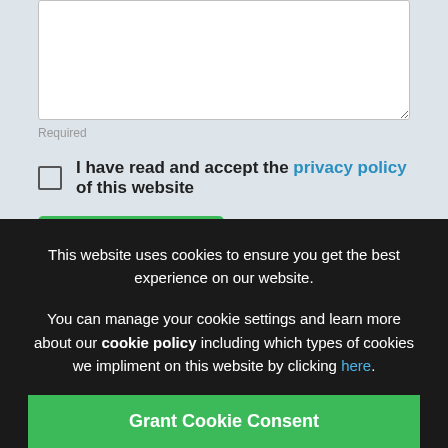Required
I have read and accept the privacy policy of this website
Send enquiry
This website uses cookies to ensure you get the best experience on our website.

You can manage your cookie settings and learn more about our cookie policy including which types of cookies we impliment on this website by clicking here.
Grant Cookie Consent